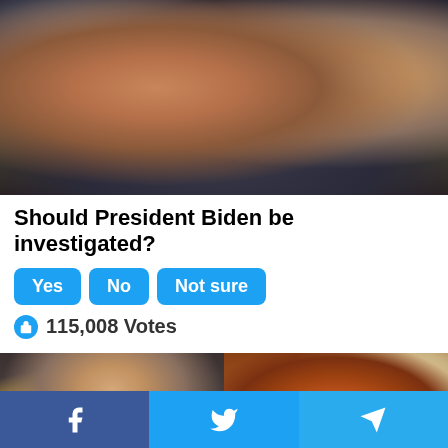[Figure (photo): Photo of President Biden in a crowd, with a younger man in background]
Should President Biden be investigated?
Yes  No  Not sure
115,008 Votes
[Figure (photo): Two photos side by side: left shows a young blonde woman looking down, right shows spices and a pregnancy test]
Facebook  Twitter  Telegram share buttons